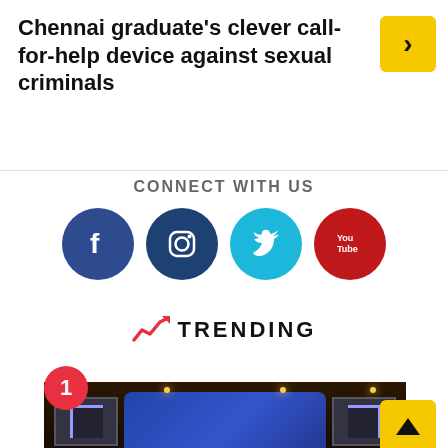Chennai graduate's clever call-for-help device against sexual criminals
[Figure (other): Yellow button with right arrow (>)]
CONNECT WITH US
[Figure (infographic): Four social media icons: Facebook (blue), Instagram (dark blue), Twitter (cyan), YouTube (red)]
[Figure (other): Trending section header with upward trending arrow icon and text TRENDING]
[Figure (photo): Indoor event/conference photo showing a stage with screens and audience seated at tables with yellow and red chairs. Number badge '1' in red circle overlaid top-left.]
[Figure (other): Yellow button with up arrow]